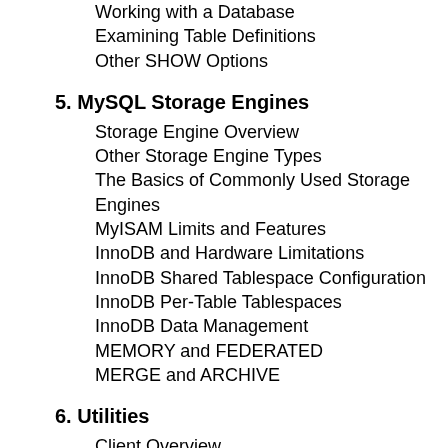Working with a Database
Examining Table Definitions
Other SHOW Options
5. MySQL Storage Engines
Storage Engine Overview
Other Storage Engine Types
The Basics of Commonly Used Storage Engines
MyISAM Limits and Features
InnoDB and Hardware Limitations
InnoDB Shared Tablespace Configuration
InnoDB Per-Table Tablespaces
InnoDB Data Management
MEMORY and FEDERATED
MERGE and ARCHIVE
6. Utilities
Client Overview
Server Log Access